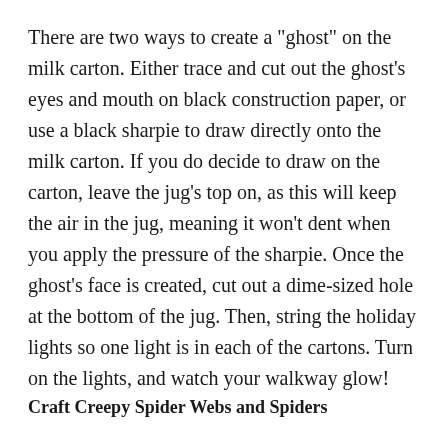There are two ways to create a "ghost" on the milk carton. Either trace and cut out the ghost's eyes and mouth on black construction paper, or use a black sharpie to draw directly onto the milk carton. If you do decide to draw on the carton, leave the jug's top on, as this will keep the air in the jug, meaning it won't dent when you apply the pressure of the sharpie. Once the ghost's face is created, cut out a dime-sized hole at the bottom of the jug. Then, string the holiday lights so one light is in each of the cartons. Turn on the lights, and watch your walkway glow!
Craft Creepy Spider Webs and Spiders